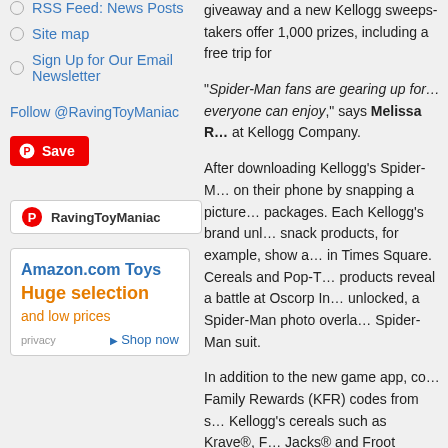RSS Feed: News Posts
Site map
Sign Up for Our Email Newsletter
Follow @RavingToyManiac
[Figure (other): Pinterest Save button (red with Pinterest logo)]
[Figure (other): Pinterest RavingToyManiac badge with Pinterest logo]
[Figure (other): Amazon.com Toys advertisement: Huge selection and low prices, Shop now, privacy link]
giveaway and a new Kellogg sweep... 1,000 prizes, including a free trip fo...
"Spider-Man fans are gearing up fo... everyone can enjoy," says Melissa ... at Kellogg Company.
After downloading Kellogg's Spider-... on their phone by snapping a picture... packages. Each Kellogg's brand unl... snack products, for example, show a... in Times Square. Cereals and Pop-T... products reveal a battle at Oscorp In... unlocked, a Spider-Man photo overla... Spider-Man suit.
In addition to the new game app, co... Family Rewards (KFR) codes from s... Kellogg's cereals such as Krave®, F... Jacks® and Froot Loops®. Consume... six codes for free movie tickets value... code, they will earn points toward oth...
The accompanying sweepstakes off...